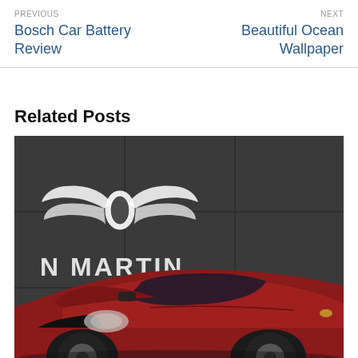PREVIOUS
Bosch Car Battery Review
NEXT
Beautiful Ocean Wallpaper
Related Posts
[Figure (photo): Red Aston Martin sports car in front of a dark grey Aston Martin branded wall with the winged logo and 'N MARTIN' text visible]